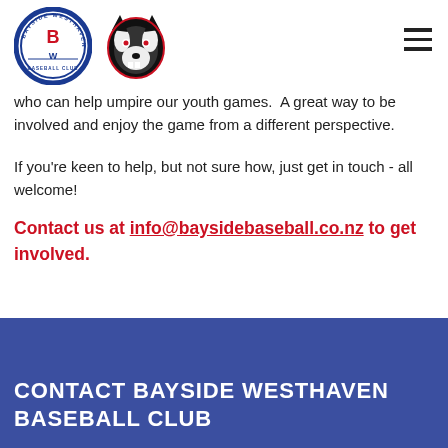[Figure (logo): Bayside Westhaven Baseball Club circular logo with blue border and red BW letters]
[Figure (logo): Bayside Westhaven Huskies mascot logo - black and white wolf/husky head with red eyes]
who can help umpire our youth games.  A great way to be involved and enjoy the game from a different perspective.
If you're keen to help, but not sure how, just get in touch - all welcome!
Contact us at info@baysidebaseball.co.nz to get involved.
CONTACT BAYSIDE WESTHAVEN BASEBALL CLUB